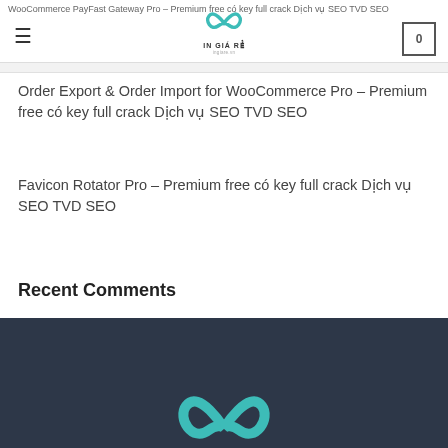WooCommerce PayFast Gateway Pro – Premium free có key full crack Dịch vụ SEO TVD SEO
[Figure (logo): IN GIÁ RẺ logo with teal infinity/loop symbol]
Order Export & Order Import for WooCommerce Pro – Premium free có key full crack Dịch vụ SEO TVD SEO
Favicon Rotator Pro – Premium free có key full crack Dịch vụ SEO TVD SEO
Recent Comments
Không có bình luận nào để hiển thị.
[Figure (logo): Partial teal IN GIÁ RẺ logo on dark navy footer background]